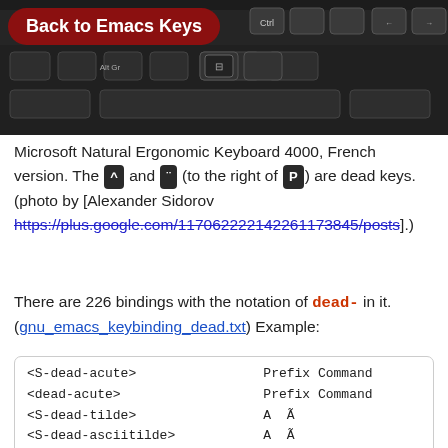[Figure (photo): Close-up photo of a Microsoft Natural Ergonomic Keyboard 4000, French version, showing dark keys with Alt Gr, Ctrl visible. Taken from an angle.]
Microsoft Natural Ergonomic Keyboard 4000, French version. The ^ and " (to the right of P) are dead keys. (photo by [Alexander Sidorov https://plus.google.com/117062222142261173845/posts].)
There are 226 bindings with the notation of dead- in it. (gnu_emacs_keybinding_dead.txt) Example:
| <S-dead-acute> | Prefix Command |
| <dead-acute> | Prefix Command |
| <S-dead-tilde> | A  Ã |
| <S-dead-asciitilde> | A  Ã |
| <dead-tilde> | A  Ã |
| <S-dead-grave> | A  À |